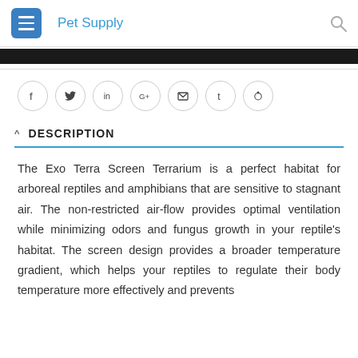Pet Supply
[Figure (other): Black banner bar]
[Figure (other): Social sharing icons row: Facebook, Twitter, LinkedIn, Google+, Email, Tumblr, Reddit]
DESCRIPTION
The Exo Terra Screen Terrarium is a perfect habitat for arboreal reptiles and amphibians that are sensitive to stagnant air. The non-restricted air-flow provides optimal ventilation while minimizing odors and fungus growth in your reptile’s habitat. The screen design provides a broader temperature gradient, which helps your reptiles to regulate their body temperature more effectively and prevents